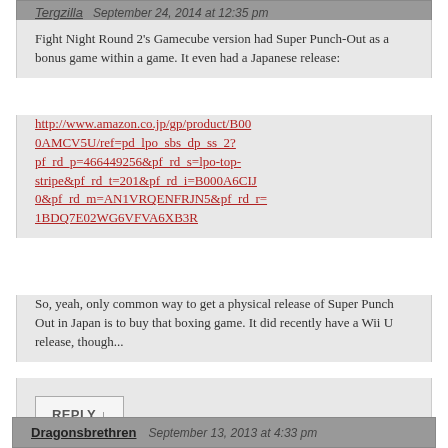Tergzilla  September 24, 2014 at 12:35 pm
Fight Night Round 2's Gamecube version had Super Punch-Out as a bonus game within a game. It even had a Japanese release:
http://www.amazon.co.jp/gp/product/B000AMCV5U/ref=pd_lpo_sbs_dp_ss_2?pf_rd_p=466449256&pf_rd_s=lpo-top-stripe&pf_rd_t=201&pf_rd_i=B000A6CIJ0&pf_rd_m=AN1VRQENFRJN5&pf_rd_r=1BDQ7E02WG6VFVA6XB3R
So, yeah, only common way to get a physical release of Super Punch Out in Japan is to buy that boxing game. It did recently have a Wii U release, though...
REPLY ↓
Dragonsbrethren  September 13, 2013 at 4:33 pm